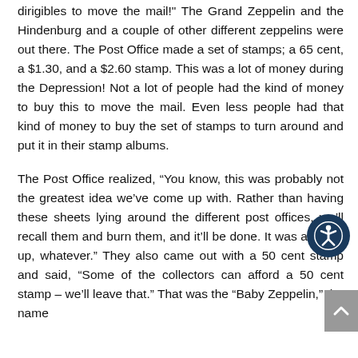dirigibles to move the mail!" The Grand Zeppelin and the Hindenburg and a couple of other different zeppelins were out there. The Post Office made a set of stamps; a 65 cent, a $1.30, and a $2.60 stamp. This was a lot of money during the Depression! Not a lot of people had the kind of money to buy this to move the mail. Even less people had that kind of money to buy the set of stamps to turn around and put it in their stamp albums.
The Post Office realized, “You know, this was probably not the greatest idea we’ve come up with. Rather than having these sheets lying around the different post offices, we’ll recall them and burn them, and it’ll be done. It was a screw up, whatever.” They also came out with a 50 cent stamp and said, “Some of the collectors can afford a 50 cent stamp – we’ll leave that.” That was the “Baby Zeppelin,” the name